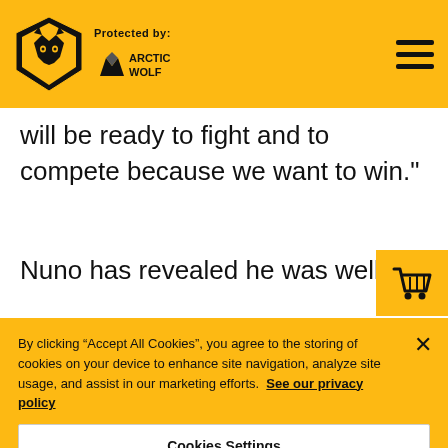Protected by: ARCTIC WOLF
will be ready to fight and to compete because we want to win."
Nuno has revealed he was well versed in all the opposition
By clicking “Accept All Cookies”, you agree to the storing of cookies on your device to enhance site navigation, analyze site usage, and assist in our marketing efforts. See our privacy policy
Cookies Settings
Reject All
Accept All Cookies